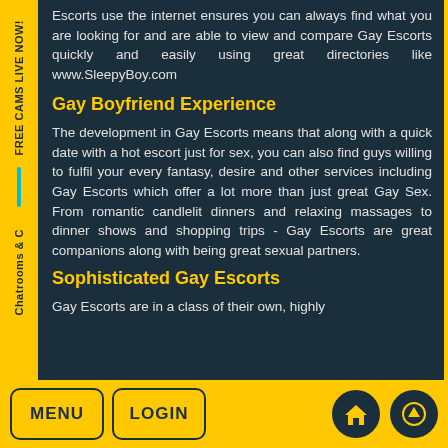Escorts use the internet ensures you can always find what you are looking for and are able to view and compare Gay Escorts quickly and easily using great directories like www.SleepyBoy.com
Gay Boyfriend Experience
The development in Gay Escorts means that along with a quick date with a hot escort just for sex, you can also find guys willing to fulfil your every fantasy, desire and other services including Gay Escorts which offer a lot more than just great Gay Sex. From romantic candlelit dinners and relaxing massages to dinner shows and shopping trips - Gay Escorts are great companions along with being great sexual partners.
Sophisticated Gay Escorts
Gay Escorts are in a class of their own, highly
MENU  LOGIN